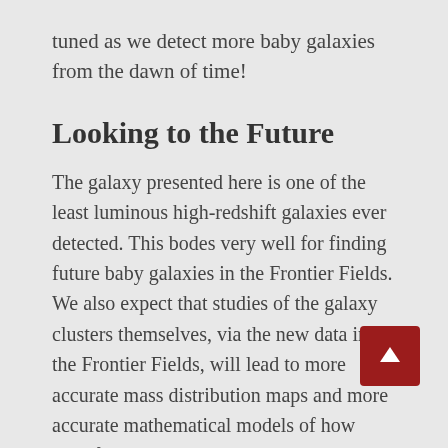tuned as we detect more baby galaxies from the dawn of time!
Looking to the Future
The galaxy presented here is one of the least luminous high-redshift galaxies ever detected. This bodes very well for finding future baby galaxies in the Frontier Fields. We also expect that studies of the galaxy clusters themselves, via the new data in the Frontier Fields, will lead to more accurate mass distribution maps and more accurate mathematical models of how light from distant galaxies are gravitationally lensed and magnified.
This really is a new age in using humankind's most sophisticated telescopes with nature's lenses to